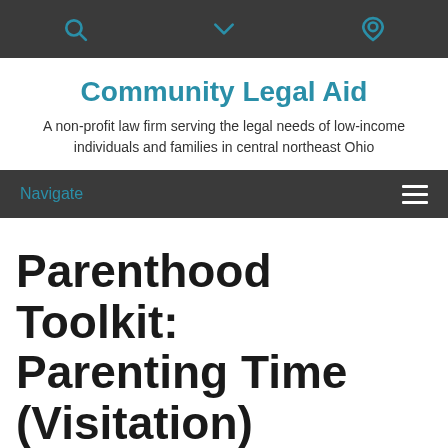Community Legal Aid – top navigation bar with search, dropdown, and location icons
Community Legal Aid
A non-profit law firm serving the legal needs of low-income individuals and families in central northeast Ohio
Navigate
Parenthood Toolkit: Parenting Time (Visitation)